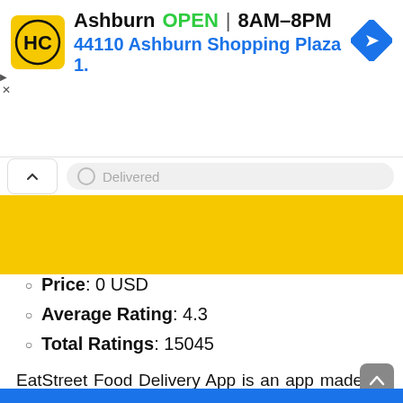[Figure (screenshot): Advertisement banner for HC (Harris Connectivity or similar) showing logo, Ashburn location, OPEN status, hours 8AM-8PM, address 44110 Ashburn Shopping Plaza 1., and navigation directions icon]
[Figure (screenshot): Delivered toggle/pill bar with caret button and yellow background section]
Price: 0 USD
Average Rating: 4.3
Total Ratings: 15045
EatStreet Food Delivery App is an app made by EatStreet. It has an average rating of 4.3 and has received 15045 ratings. The last update was on 2021-05-26T00:25:30.000Z.